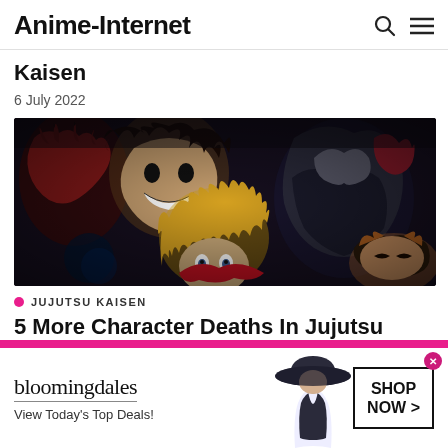Anime-Internet
Kaisen
6 July 2022
[Figure (illustration): Featured manga-style illustration showing Jujutsu Kaisen characters including a grinning villain with dark hair, a blonde-haired protagonist, a character in red, and a girl with auburn hair, against a dark dramatic background.]
JUJUTSU KAISEN
5 More Character Deaths In Jujutsu Kaisen
[Figure (advertisement): Bloomingdale's advertisement banner showing logo, tagline 'View Today's Top Deals!', a model in a wide-brimmed hat, and a 'SHOP NOW >' call-to-action button.]